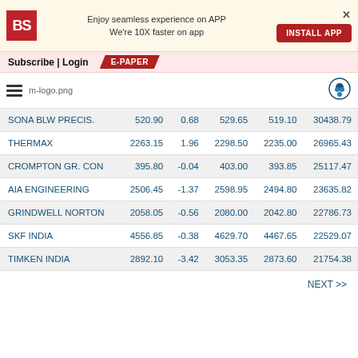Enjoy seamless experience on APP We're 10X faster on app INSTALL APP
Subscribe | Login E-PAPER
| SONA BLW PRECIS. | 520.90 | 0.68 | 529.65 | 519.10 | 30438.79 |
| THERMAX | 2263.15 | 1.96 | 2298.50 | 2235.00 | 26965.43 |
| CROMPTON GR. CON | 395.80 | -0.04 | 403.00 | 393.85 | 25117.47 |
| AIA ENGINEERING | 2506.45 | -1.37 | 2598.95 | 2494.80 | 23635.82 |
| GRINDWELL NORTON | 2058.05 | -0.56 | 2080.00 | 2042.80 | 22786.73 |
| SKF INDIA | 4556.85 | -0.38 | 4629.70 | 4467.65 | 22529.07 |
| TIMKEN INDIA | 2892.10 | -3.42 | 3053.35 | 2873.60 | 21754.38 |
NEXT >>